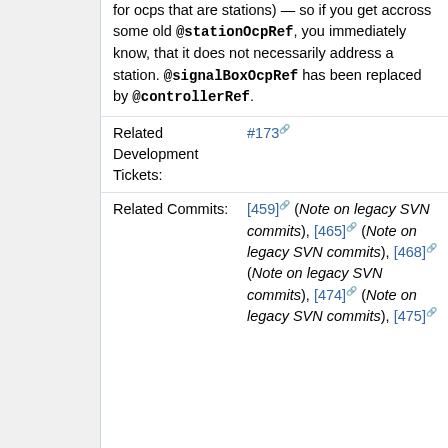for ocps that are stations) — so if you get accross some old @stationOcpRef, you immediately know, that it does not necessarily address a station. @signalBoxOcpRef has been replaced by @controllerRef.
|  |  |
| --- | --- |
| Related Development Tickets: | #173 |
| Related Commits: | [459] (Note on legacy SVN commits), [465] (Note on legacy SVN commits), [468] (Note on legacy SVN commits), [474] (Note on legacy SVN commits), [475] |